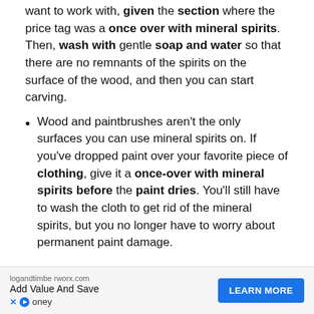want to work with, given the section where the price tag was a once over with mineral spirits. Then, wash with gentle soap and water so that there are no remnants of the spirits on the surface of the wood, and then you can start carving.
Wood and paintbrushes aren't the only surfaces you can use mineral spirits on. If you've dropped paint over your favorite piece of clothing, give it a once-over with mineral spirits before the paint dries. You'll still have to wash the cloth to get rid of the mineral spirits, but you no longer have to worry about permanent paint damage.
Final Thoughts
When working with oil-based paints, mineral spirits
[Figure (other): Advertisement banner: logandtimberworx.com - Add Value And Save - LEARN MORE button, with X and play icons and 'oney' text]